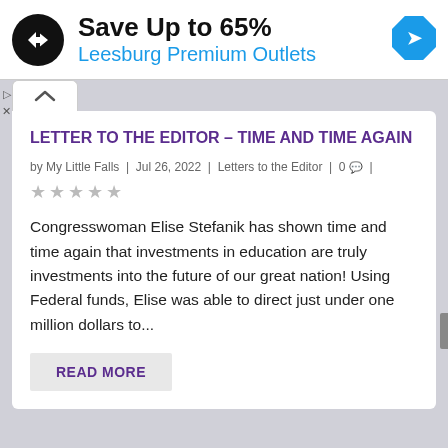[Figure (logo): Advertisement banner: black circular logo with double arrow, text 'Save Up to 65%' in bold black and 'Leesburg Premium Outlets' in blue, blue diamond navigation icon on right]
LETTER TO THE EDITOR – TIME AND TIME AGAIN
by My Little Falls | Jul 26, 2022 | Letters to the Editor | 0 | ★★★★★
Congresswoman Elise Stefanik has shown time and time again that investments in education are truly investments into the future of our great nation! Using Federal funds, Elise was able to direct just under one million dollars to...
READ MORE